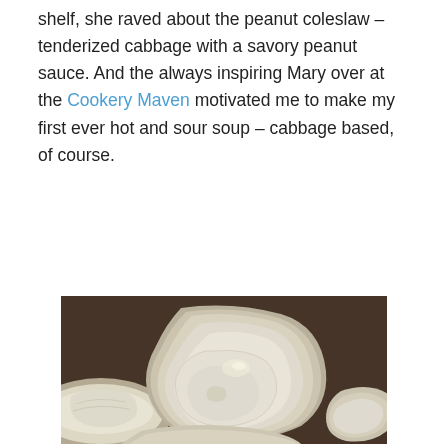shelf, she raved about the peanut coleslaw – tenderized cabbage with a savory peanut sauce. And the always inspiring Mary over at the Cookery Maven motivated me to make my first ever hot and sour soup – cabbage based, of course.
[Figure (photo): Close-up photo of sliced cabbage wedges on a dark baking sheet, showing pale cream-white layered cabbage cross-sections with a slightly glossy surface, suggesting they have been oiled or cooked]